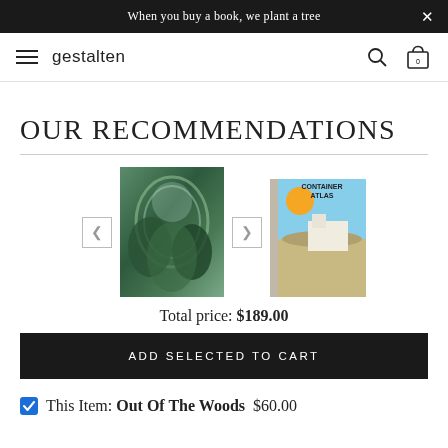When you buy a book, we plant a tree
OUR RECOMMENDATIONS
[Figure (screenshot): Two book product images shown side by side with navigation arrows: 'Out Of The Woods' (green forest cover) and 'Container Atlas' (desert scene with sun icon)]
Total price: $189.00
ADD SELECTED TO CART
This Item: Out Of The Woods  $60.00